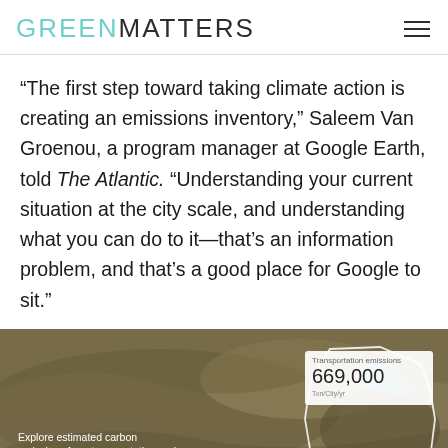GREEN MATTERS
“The first step toward taking climate action is creating an emissions inventory,” Saleem Van Groenou, a program manager at Google Earth, told The Atlantic. “Understanding your current situation at the city scale, and understanding what you can do to it—that’s an information problem, and that’s a good place for Google to sit.”
[Figure (screenshot): Satellite map showing carbon emissions data overlay from Google Earth, with a Transportation emissions card showing 669,000 ton/City/yr and a Building emissions card showing 1,219,000. Overlay text reads: Explore estimated carbon emissions from transportation and buildings, rooftop solar energy potential, and NASA climate forecasts, derived from Google’s]